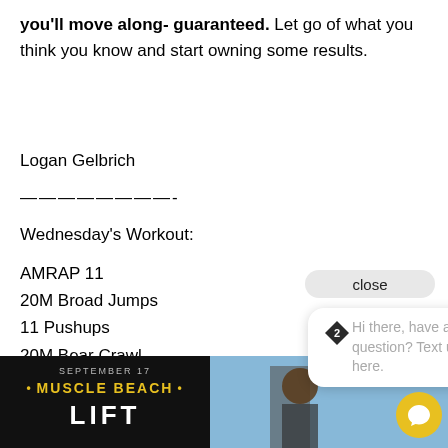you'll move along- guaranteed. Let go of what you think you know and start owning some results.
Logan Gelbrich
————————-
Wednesday's Workout:
AMRAP 11
20M Broad Jumps
11 Pushups
20M Bear Crawl
11 Inverted Burpees
[Figure (screenshot): Chat widget popup with 'close' button and message 'Hi there, have a question? Text us here.' with a diamond logo icon]
[Figure (photo): Bottom image showing September 17 Muscle Beach event poster on left (dark background with yellow text) and a person holding a trophy on right (blue sky background). Yellow chat circle button visible in bottom right.]